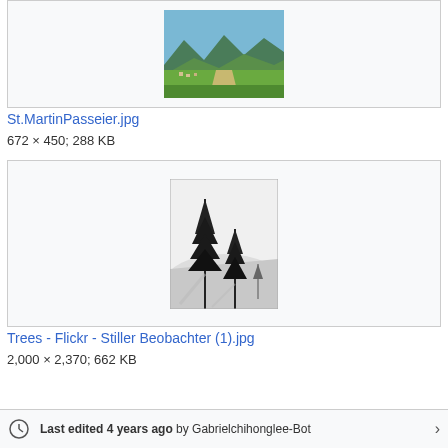[Figure (photo): Aerial/valley view of St. Martin in Passeier village surrounded by green mountains (partially visible at top of page)]
St.MartinPasseier.jpg
672 × 450; 288 KB
[Figure (photo): Black and white photograph of two conifer trees on a snowy hillside with shadows cast on snow]
Trees - Flickr - Stiller Beobachter (1).jpg
2,000 × 2,370; 662 KB
Last edited 4 years ago by Gabrielchihonglee-Bot